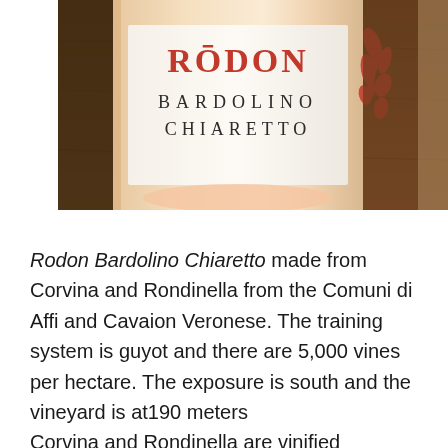[Figure (photo): Close-up photograph of a wine bottle label reading RODON BARDOLINO CHIARETTO in red and dark lettering, with decorative red floral motif on the right side. The bottle appears to contain a rosé wine and is photographed on a wooden surface.]
Rodon Bardolino Chiaretto made from Corvina and Rondinella from the Comuni di Affi and Cavaion Veronese. The training system is guyot and there are 5,000 vines per hectare. The exposure is south and the vineyard is at190 meters
Corvina and Rondinella are vinified separately. They are given a cool temperature 6 to 8 hour maceration on the skins, which extracts just enough color to give a lovely, medium bodied hue to the juice. The must then ferments